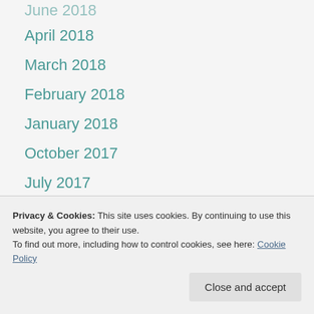June 2018
April 2018
March 2018
February 2018
January 2018
October 2017
July 2017
June 2017
May 2017
April 2017
June 2016
Privacy & Cookies: This site uses cookies. By continuing to use this website, you agree to their use.
To find out more, including how to control cookies, see here: Cookie Policy
Close and accept